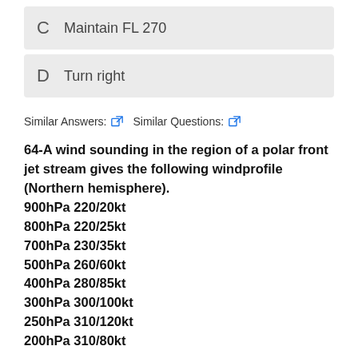C  Maintain FL 270
D  Turn right
Similar Answers:  Similar Questions:
64-A wind sounding in the region of a polar front jet stream gives the following windprofile (Northern hemisphere).
900hPa 220/20kt
800hPa 220/25kt
700hPa 230/35kt
500hPa 260/60kt
400hPa 280/85kt
300hPa 300/100kt
250hPa 310/120kt
200hPa 310/80kt